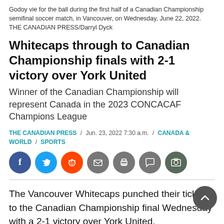Godoy vie for the ball during the first half of a Canadian Championship semifinal soccer match, in Vancouver, on Wednesday, June 22, 2022. THE CANADIAN PRESS/Darryl Dyck
Whitecaps through to Canadian Championship finals with 2-1 victory over York United
Winner of the Canadian Championship will represent Canada in the 2023 CONCACAF Champions League
THE CANADIAN PRESS / Jun. 23, 2022 7:30 a.m. / CANADA & WORLD / SPORTS
[Figure (infographic): Social sharing icons row: Facebook (blue), Twitter (light blue), Reddit (orange), Email (grey), Print (grey), Comment (grey), Photo (dark grey)]
The Vancouver Whitecaps punched their ticket to the Canadian Championship final Wednesday with a 2-1 victory over York United.